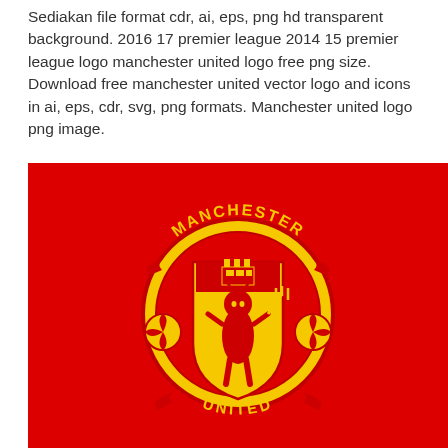Sediakan file format cdr, ai, eps, png hd transparent background. 2016 17 premier league 2014 15 premier league logo manchester united logo free png size. Download free manchester united vector logo and icons in ai, eps, cdr, svg, png formats. Manchester united logo png image.
[Figure (logo): Manchester United football club crest/badge on a bright red background. The badge features a yellow shield with a red devil holding a trident, flanked by two footballs, with 'MANCHESTER' text arching across the top and 'UNITED' text across the bottom, all encircled by a yellow and red ring.]